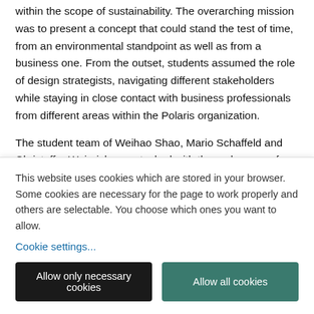within the scope of sustainability. The overarching mission was to present a concept that could stand the test of time, from an environmental standpoint as well as from a business one. From the outset, students assumed the role of design strategists, navigating different stakeholders while staying in close contact with business professionals from different areas within the Polaris organization.
The student team of Weihao Shao, Mario Schaffeld and Christoffer Weinrich were tasked with the make-over of GOUPIL, a company specialized in utility electric vehicles suited for watering, waste collection and deliveries. Focusing on SDGs 9 (industry, innovation and infrastructure). 11 (sustainable cities &
This website uses cookies which are stored in your browser. Some cookies are necessary for the page to work properly and others are selectable. You choose which ones you want to allow.
Cookie settings...
Allow only necessary cookies
Allow all cookies